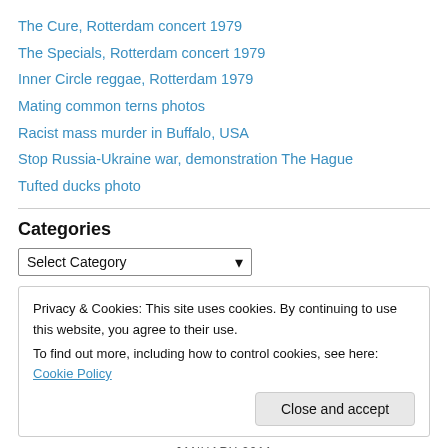The Cure, Rotterdam concert 1979
The Specials, Rotterdam concert 1979
Inner Circle reggae, Rotterdam 1979
Mating common terns photos
Racist mass murder in Buffalo, USA
Stop Russia-Ukraine war, demonstration The Hague
Tufted ducks photo
Categories
Select Category
Privacy & Cookies: This site uses cookies. By continuing to use this website, you agree to their use.
To find out more, including how to control cookies, see here: Cookie Policy
Close and accept
JANUARY 2011